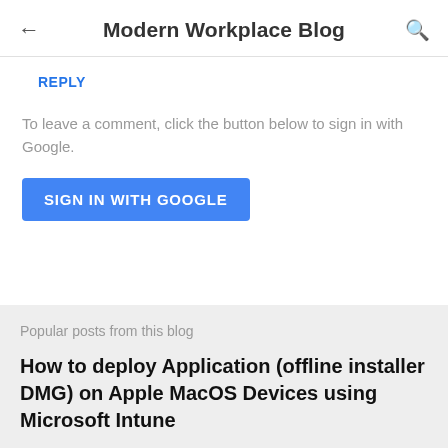Modern Workplace Blog
REPLY
To leave a comment, click the button below to sign in with Google.
SIGN IN WITH GOOGLE
Popular posts from this blog
How to deploy Application (offline installer DMG) on Apple MacOS Devices using Microsoft Intune